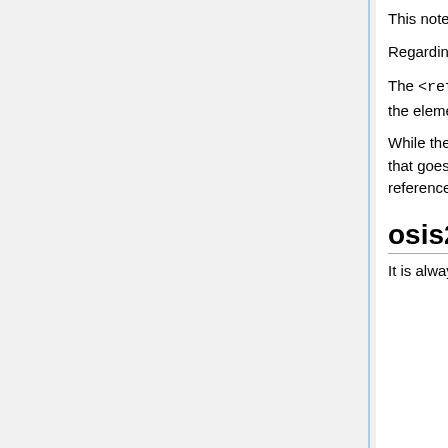This note pertains to a single verse and it is given in osisRef.
Regarding the <reference> elements:
The <reference> element is replaced by Sword with a link to the reference with the text of the element being shown as link text.
While the osisRef can point to multiple verses, most Sword applications cannot handle a link that goes to more than one verse or a contiguous range of verses. Here we see that each reference is separated by punctuation.
osis2mod usage (> 1.5.9)
It is always best to use the most recent version of osis2mod and compiling it